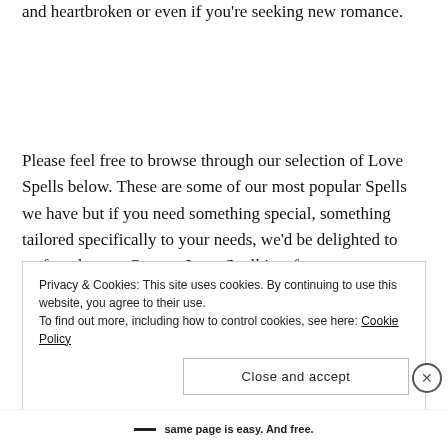and heartbroken or even if you're seeking new romance.
Please feel free to browse through our selection of Love Spells below. These are some of our most popular Spells we have but if you need something special, something tailored specifically to your needs, we'd be delighted to craft and cast a Custom Love Spell just for you
Privacy & Cookies: This site uses cookies. By continuing to use this website, you agree to their use.
To find out more, including how to control cookies, see here: Cookie Policy
Close and accept
same page is easy. And free.